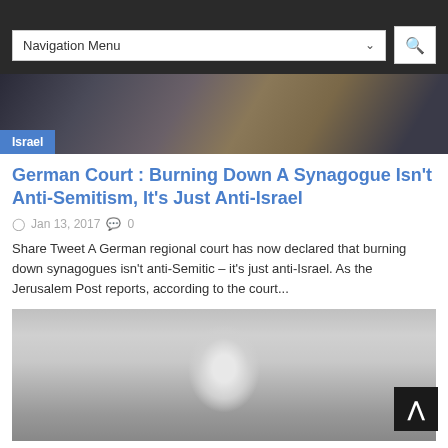Navigation Menu
[Figure (photo): Dark textured background hero image with burned/charred appearance]
German Court : Burning Down A Synagogue Isn’t Anti-Semitism, It’s Just Anti-Israel
Jan 13, 2017  0
Share Tweet A German regional court has now declared that burning down synagogues isn’t anti-Semitic – it’s just anti-Israel. As the Jerusalem Post reports, according to the court...
[Figure (photo): Black and white portrait photograph of a woman’s face]